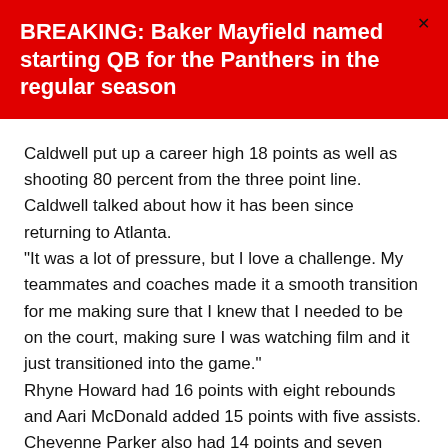BREAKING: Baker Mayfield named starting QB for the Panthers in the regular season
Caldwell put up a career high 18 points as well as shooting 80 percent from the three point line. Caldwell talked about how it has been since returning to Atlanta.
“It was a lot of pressure, but I love a challenge. My teammates and coaches made it a smooth transition for me making sure that I knew that I needed to be on the court, making sure I was watching film and it just transitioned into the game.”
Rhyne Howard had 16 points with eight rebounds and Aari McDonald added 15 points with five assists. Cheyenne Parker also had 14 points and seven rebounds with three blocks.